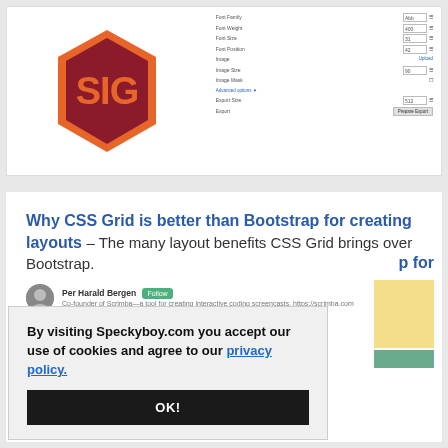[Figure (screenshot): Screenshot showing a SIG logo creator tool with a dark red hexagonal badge with 'SIG' text and an orange border, alongside a settings panel with fields for Font Family, Font Weight (400), Font Size (31), Font Position (42), Image (Upload), Image Size (90), Image Mask, Advanced options, Export Size (512), and Export/Prepare Export button.]
Why CSS Grid is better than Bootstrap for creating layouts – The many layout benefits CSS Grid brings over Bootstrap.
Per Harald Bergen Follow — Co-founder of Scrimba—a tool for creating interactive coding screencasts. https://scrimba.com
By visiting Speckyboy.com you accept our use of cookies and agree to our privacy policy.
OK!